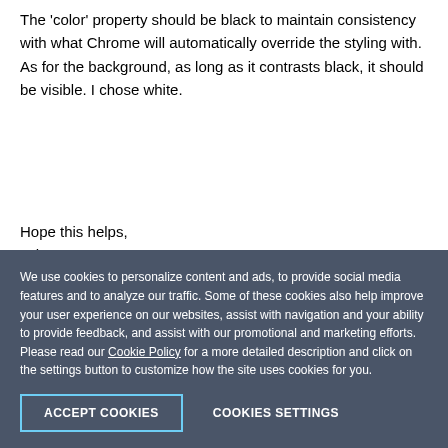The 'color' property should be black to maintain consistency with what Chrome will automatically override the styling with. As for the background, as long as it contrasts black, it should be visible. I chose white.
Hope this helps,
John
Add a comment
We use cookies to personalize content and ads, to provide social media features and to analyze our traffic. Some of these cookies also help improve your user experience on our websites, assist with navigation and your ability to provide feedback, and assist with our promotional and marketing efforts. Please read our Cookie Policy for a more detailed description and click on the settings button to customize how the site uses cookies for you.
ACCEPT COOKIES
COOKIES SETTINGS